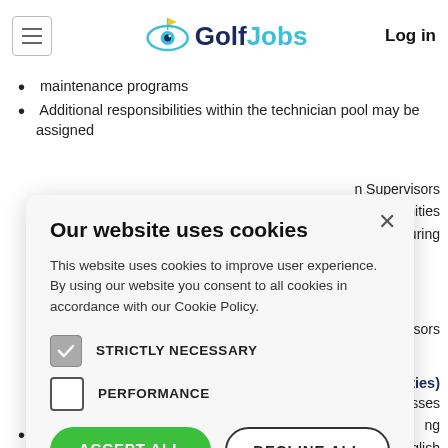GolfJobs | Log in
maintenance programs
Additional responsibilities within the technician pool may be assigned
n Supervisors
ortunities
uring
[Figure (screenshot): Cookie consent modal dialog on GolfJobs website. Title: 'Our website uses cookies'. Body text: 'This website uses cookies to improve user experience. By using our website you consent to all cookies in accordance with our Cookie Policy.' Checkboxes: STRICTLY NECESSARY (checked), PERFORMANCE (unchecked). Buttons: ACCEPT ALL (green), DECLINE ALL (outline). SHOW DETAILS link. Powered by CookieScript footer.]
n Supervisors
& Abilities)
esses
ing
d English
Competency with Microsoft Works programs including